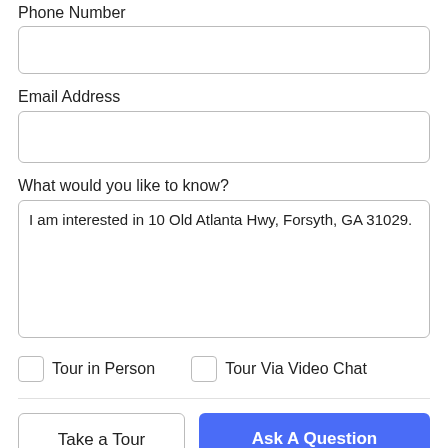Phone Number
Email Address
What would you like to know?
I am interested in 10 Old Atlanta Hwy, Forsyth, GA 31029.
Tour in Person
Tour Via Video Chat
Take a Tour
Ask A Question